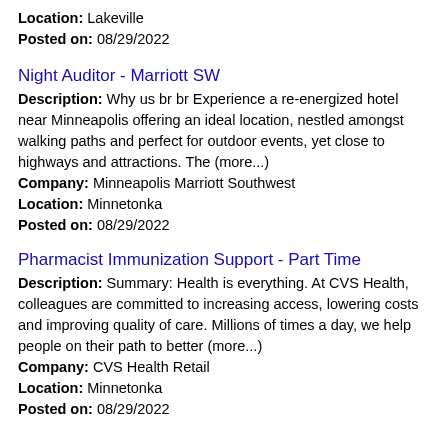Location: Lakeville
Posted on: 08/29/2022
Night Auditor - Marriott SW
Description: Why us br br Experience a re-energized hotel near Minneapolis offering an ideal location, nestled amongst walking paths and perfect for outdoor events, yet close to highways and attractions. The (more...)
Company: Minneapolis Marriott Southwest
Location: Minnetonka
Posted on: 08/29/2022
Pharmacist Immunization Support - Part Time
Description: Summary: Health is everything. At CVS Health, colleagues are committed to increasing access, lowering costs and improving quality of care. Millions of times a day, we help people on their path to better (more...)
Company: CVS Health Retail
Location: Minnetonka
Posted on: 08/29/2022